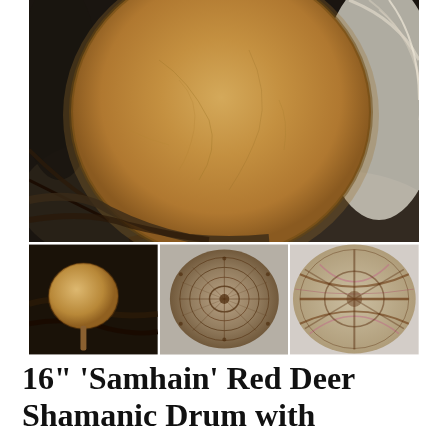[Figure (photo): Main photo showing a round shamanic drum with tan/beige animal hide surface, resting on a black and white fur/fleece background. Below are three smaller thumbnail photos: left shows the drum beater (small round mallet), center shows the back of the drum with circular lacing pattern, right shows a close-up of the drum lacing detail.]
16“ ‘Samhain’ Red Deer Shamanic Drum with